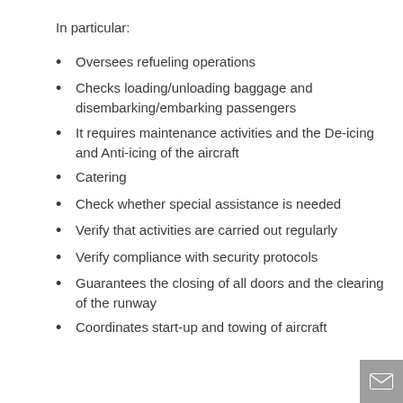In particular:
Oversees refueling operations
Checks loading/unloading baggage and disembarking/embarking passengers
It requires maintenance activities and the De-icing and Anti-icing of the aircraft
Catering
Check whether special assistance is needed
Verify that activities are carried out regularly
Verify compliance with security protocols
Guarantees the closing of all doors and the clearing of the runway
Coordinates start-up and towing of aircraft